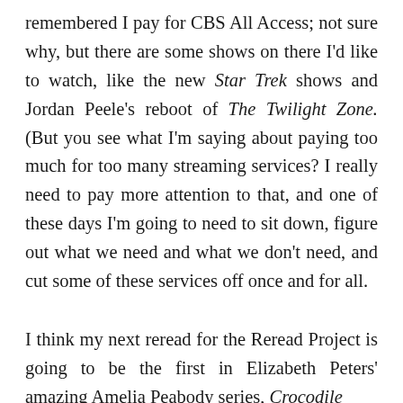remembered I pay for CBS All Access; not sure why, but there are some shows on there I'd like to watch, like the new Star Trek shows and Jordan Peele's reboot of The Twilight Zone. (But you see what I'm saying about paying too much for too many streaming services? I really need to pay more attention to that, and one of these days I'm going to need to sit down, figure out what we need and what we don't need, and cut some of these services off once and for all.
I think my next reread for the Reread Project is going to be the first in Elizabeth Peters' amazing Amelia Peabody series, Crocodile...